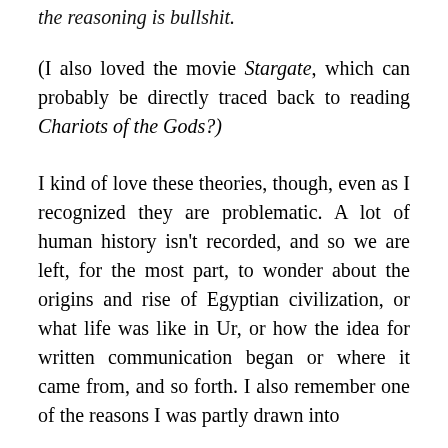the reasoning is bullshit.
(I also loved the movie Stargate, which can probably be directly traced back to reading Chariots of the Gods?)
I kind of love these theories, though, even as I recognized they are problematic. A lot of human history isn't recorded, and so we are left, for the most part, to wonder about the origins and rise of Egyptian civilization, or what life was like in Ur, or how the idea for written communication began or where it came from, and so forth. I also remember one of the reasons I was partly drawn into